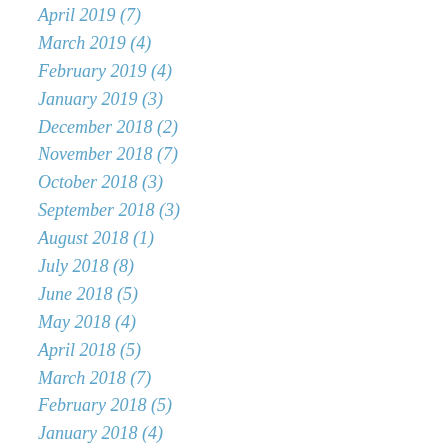April 2019 (7)
March 2019 (4)
February 2019 (4)
January 2019 (3)
December 2018 (2)
November 2018 (7)
October 2018 (3)
September 2018 (3)
August 2018 (1)
July 2018 (8)
June 2018 (5)
May 2018 (4)
April 2018 (5)
March 2018 (7)
February 2018 (5)
January 2018 (4)
December 2017 (4)
November 2017 (7)
October 2017 (9)
September 2017 (6)